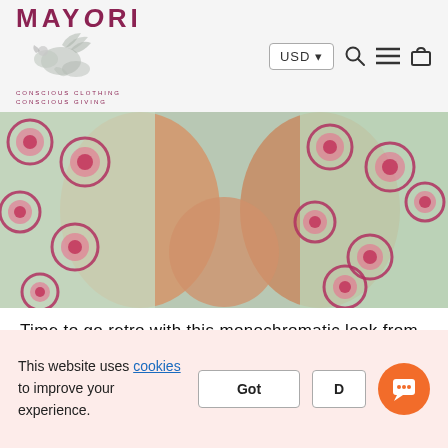MAYORI — CONSCIOUS CLOTHING CONSCIOUS GIVING — USD currency selector, search, menu, cart icons
[Figure (photo): Close-up photo of two women wearing matching green and pink large floral print dresses with their hands clasped together in front.]
Time to go retro with this monochromatic look from Mayori. Big floral prints complemented by black and white strips, it does not get better than that!
This website uses cookies to improve your experience.